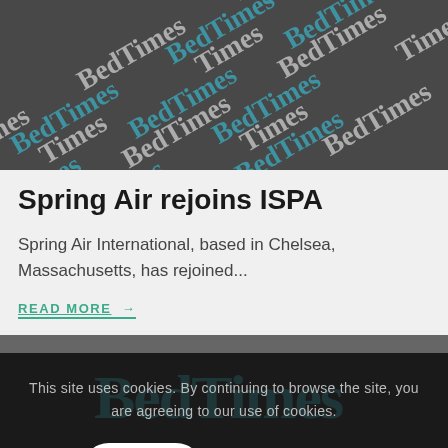[Figure (illustration): BedTimes magazine logo repeated as a watermark pattern on dark grey background, with white and blue text at diagonal angles]
Spring Air rejoins ISPA
Spring Air International, based in Chelsea, Massachusetts, has rejoined...
READ MORE →
This site uses cookies. By continuing to browse the site, you are agreeing to our use of cookies.
OK
LEARN MORE
The Business Journal for the Sleep Products